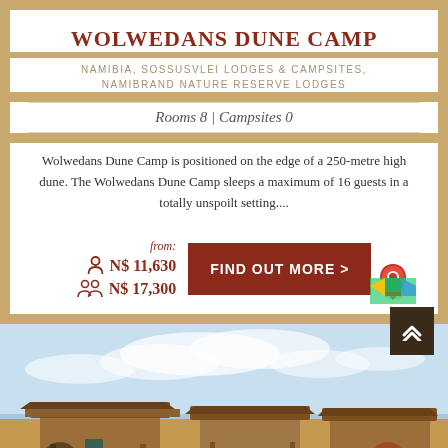WOLWEDANS DUNE CAMP
NAMIBIA, SOSSUSVLEI LODGES & CAMPSITES, NAMIBRAND NATURE RESERVE LODGES
Rooms 8 | Campsites 0
Wolwedans Dune Camp is positioned on the edge of a 250-metre high dune. The Wolwedans Dune Camp sleeps a maximum of 16 guests in a totally unspoilt setting....
from: N$ 11,630 (single) / N$ 17,300 (double)
[Figure (photo): Exterior photo of Wolwedans Dune Camp lodge buildings set against a desert landscape with blue sky]